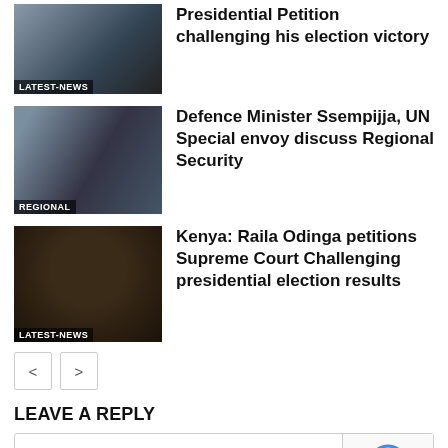[Figure (photo): Thumbnail photo with LATEST-NEWS label]
Presidential Petition challenging his election victory
[Figure (photo): Group of people in suits, REGIONAL label]
Defence Minister Ssempijja, UN Special envoy discuss Regional Security
[Figure (photo): Close-up portrait photo with LATEST-NEWS label]
Kenya: Raila Odinga petitions Supreme Court Challenging presidential election results
< >
LEAVE A REPLY
Comment: